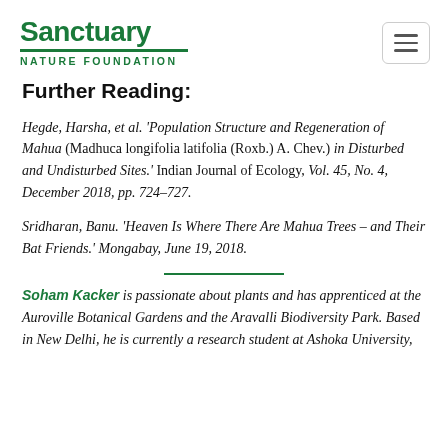Sanctuary Nature Foundation
Further Reading:
Hegde, Harsha, et al. 'Population Structure and Regeneration of Mahua (Madhuca longifolia latifolia (Roxb.) A. Chev.) in Disturbed and Undisturbed Sites.' Indian Journal of Ecology, Vol. 45, No. 4, December 2018, pp. 724–727.
Sridharan, Banu. 'Heaven Is Where There Are Mahua Trees – and Their Bat Friends.' Mongabay, June 19, 2018.
Soham Kacker is passionate about plants and has apprenticed at the Auroville Botanical Gardens and the Aravalli Biodiversity Park. Based in New Delhi, he is currently a research student at Ashoka University,